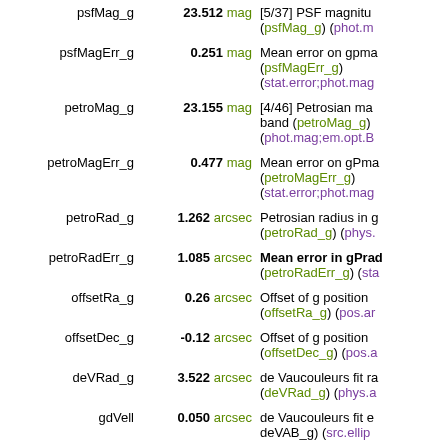| Field | Value | Description |
| --- | --- | --- |
| psfMag_g | 23.512 mag | [5/37] PSF magnitude (psfMag_g) (phot.m... |
| psfMagErr_g | 0.251 mag | Mean error on gpma... (psfMagErr_g) (stat.error;phot.mag... |
| petroMag_g | 23.155 mag | [4/46] Petrosian ma... band (petroMag_g) (phot.mag;em.opt.B... |
| petroMagErr_g | 0.477 mag | Mean error on gPma... (petroMagErr_g) (stat.error;phot.mag... |
| petroRad_g | 1.262 arcsec | Petrosian radius in g... (petroRad_g) (phys.... |
| petroRadErr_g | 1.085 arcsec | Mean error in gPrad... (petroRadErr_g) (sta... |
| offsetRa_g | 0.26 arcsec | Offset of g position (offsetRa_g) (pos.ar... |
| offsetDec_g | -0.12 arcsec | Offset of g position (offsetDec_g) (pos.a... |
| deVRad_g | 3.522 arcsec | de Vaucouleurs fit ra... (deVRad_g) (phys.a... |
| gdVell | 0.050 arcsec | de Vaucouleurs fit e... deVAB_g) (src.ellip... |